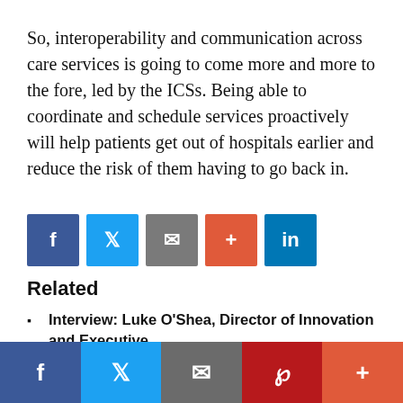So, interoperability and communication across care services is going to come more and more to the fore, led by the ICSs. Being able to coordinate and schedule services proactively will help patients get out of hospitals earlier and reduce the risk of them having to go back in.
[Figure (other): Social sharing buttons: Facebook (blue), Twitter (blue), Email (grey), Plus/share (orange-red), LinkedIn (blue)]
Related
Interview: Luke O'Shea, Director of Innovation and Executive…
Researchers develop algorithm to search for ADHD phenotypes…
Video app launches language translation service for
[Figure (other): Bottom sticky social sharing bar: Facebook, Twitter, Email, Pinterest, Plus]